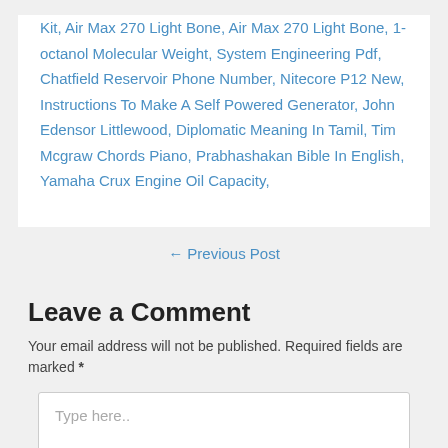Kit, Air Max 270 Light Bone, Air Max 270 Light Bone, 1-octanol Molecular Weight, System Engineering Pdf, Chatfield Reservoir Phone Number, Nitecore P12 New, Instructions To Make A Self Powered Generator, John Edensor Littlewood, Diplomatic Meaning In Tamil, Tim Mcgraw Chords Piano, Prabhashakan Bible In English, Yamaha Crux Engine Oil Capacity,
← Previous Post
Leave a Comment
Your email address will not be published. Required fields are marked *
Type here..